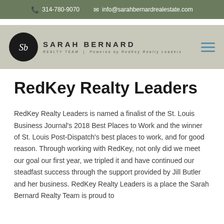314-780-9070   info@sarahbernardrealestate.com
[Figure (logo): Sarah Bernard Realty Team logo with SB monogram circle and text 'SARAH BERNARD REALTY TEAM | Powered by RedKey Realty Leaders']
RedKey Realty Leaders
RedKey Realty Leaders is named a finalist of the St. Louis Business Journal's 2018 Best Places to Work and the winner of St. Louis Post-Dispatch's best places to work, and for good reason. Through working with RedKey, not only did we meet our goal our first year, we tripled it and have continued our steadfast success through the support provided by Jill Butler and her business. RedKey Realty Leaders is a place the Sarah Bernard Realty Team is proud to